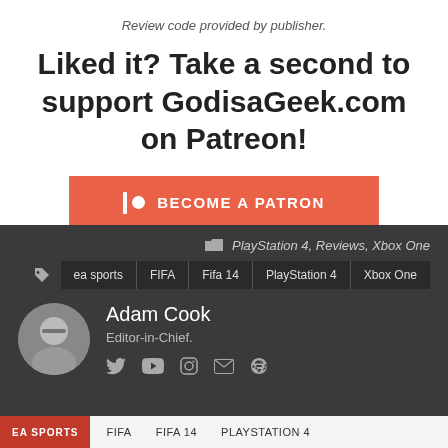Review code provided by publisher.
Liked it? Take a second to support GodisaGeek.com on Patreon!
[Figure (other): Patreon 'Become a Patron' orange button with Patreon logo icon]
PlayStation 4, Reviews, Xbox One
ea sports
FIFA
Fifa 14
PlayStation 4
Xbox One
[Figure (photo): Circular profile photo of Adam Cook, a man with glasses]
Adam Cook
Editor-in-Chief.
EA SPORTS   FIFA   FIFA 14   PLAYSTATION 4